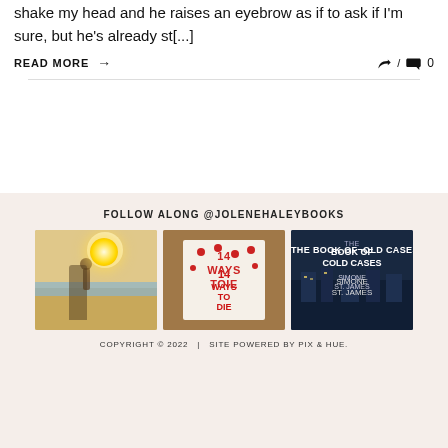shake my head and he raises an eyebrow as if to ask if I'm sure, but he's already st[...]
READ MORE → / 💬 0
FOLLOW ALONG @JOLENEHALEYBOOKS
[Figure (photo): Three Instagram photos: a person on a beach at sunset, a book cover '14 Ways to Die', and a book cover 'The Book of Cold Cases by Simone St. James']
COPYRIGHT © 2022  |  SITE POWERED BY PIX & HUE.